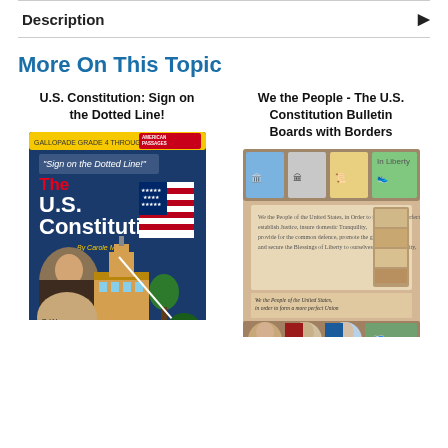Description
More On This Topic
U.S. Constitution: Sign on the Dotted Line!
We the People - The U.S. Constitution Bulletin Boards with Borders
[Figure (photo): Book cover: The U.S. Constitution Sign on the Dotted Line by Carole Marsh, showing a colonial building, American flag, and founding fathers]
[Figure (photo): Book/poster cover: We the People - The U.S. Constitution Bulletin Boards with Borders, showing Constitution text, portraits and illustrated icons]